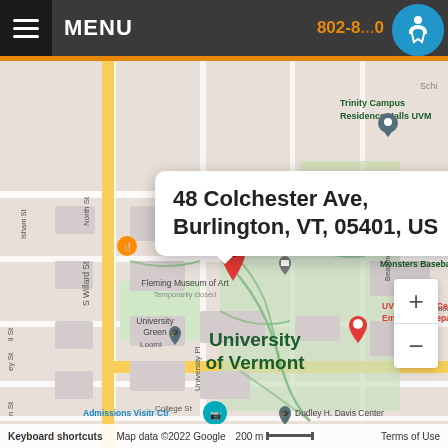MENU   802-8[...]0
[Figure (map): Google Maps screenshot showing the University of Vermont campus area in Burlington, VT. A red pin marks 48 Colchester Ave. Nearby labels include Trinity Campus Residence Halls UVM, Fleming Museum of Art (Temporarily closed), University Green, UVM Medical Center Emergency Department, Admissions Visitr Ctr, Dudley H. Davis Center, and University of Vermont. A white popup bubble reads '48 Colchester Ave, Burlington, VT, 05401, US'. Map footer shows: Keyboard shortcuts | Map data ©2022 Google | 200 m scale bar | Terms of Use.]
48 Colchester Ave, Burlington, VT, 05401, US
Keyboard shortcuts   Map data ©2022 Google   200 m   Terms of Use